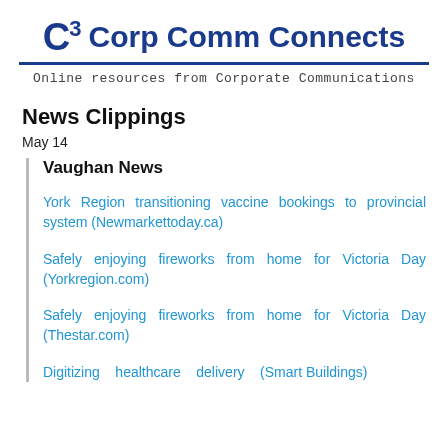C3 Corp Comm Connects
Online resources from Corporate Communications
News Clippings
May 14
Vaughan News
York Region transitioning vaccine bookings to provincial system (Newmarkettoday.ca)
Safely enjoying fireworks from home for Victoria Day (Yorkregion.com)
Safely enjoying fireworks from home for Victoria Day (Thestar.com)
Digitizing healthcare delivery (Smart Buildings)